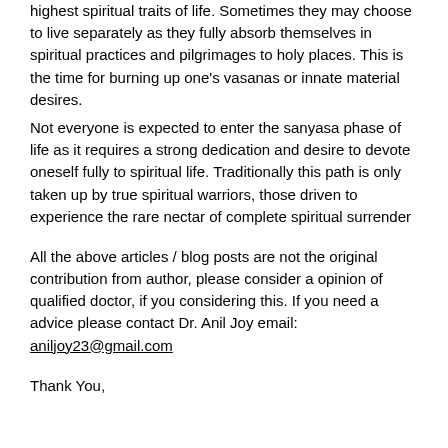highest spiritual traits of life. Sometimes they may choose to live separately as they fully absorb themselves in spiritual practices and pilgrimages to holy places. This is the time for burning up one's vasanas or innate material desires.
Not everyone is expected to enter the sanyasa phase of life as it requires a strong dedication and desire to devote oneself fully to spiritual life. Traditionally this path is only taken up by true spiritual warriors, those driven to experience the rare nectar of complete spiritual surrender
All the above articles / blog posts are not the original contribution from author, please consider a opinion of qualified doctor, if you considering this. If you need a advice please contact Dr. Anil Joy email: aniljoy23@gmail.com
Thank You,